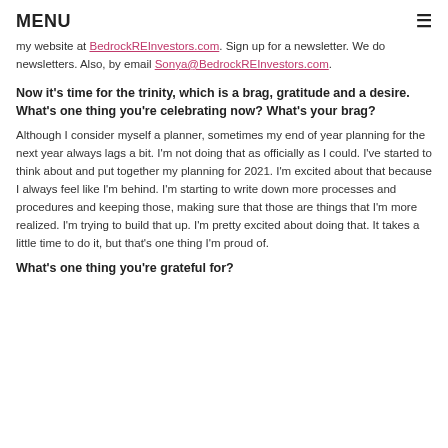MENU ≡
my website at BedrockREInvestors.com. Sign up for a newsletter. We do newsletters. Also, by email Sonya@BedrockREInvestors.com.
Now it's time for the trinity, which is a brag, gratitude and a desire. What's one thing you're celebrating now? What's your brag?
Although I consider myself a planner, sometimes my end of year planning for the next year always lags a bit. I'm not doing that as officially as I could. I've started to think about and put together my planning for 2021. I'm excited about that because I always feel like I'm behind. I'm starting to write down more processes and procedures and keeping those, making sure that those are things that I'm more realized. I'm trying to build that up. I'm pretty excited about doing that. It takes a little time to do it, but that's one thing I'm proud of.
What's one thing you're grateful for?